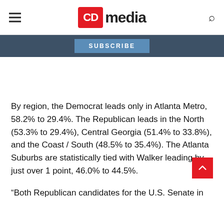CD media
SUBSCRIBE
By region, the Democrat leads only in Atlanta Metro, 58.2% to 29.4%. The Republican leads in the North (53.3% to 29.4%), Central Georgia (51.4% to 33.8%), and the Coast / South (48.5% to 35.4%). The Atlanta Suburbs are statistically tied with Walker leading by just over 1 point, 46.0% to 44.5%.
“Both Republican candidates for the U.S. Senate in